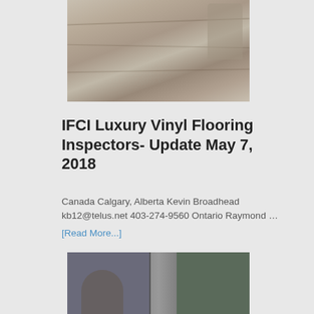[Figure (photo): Luxury vinyl plank flooring with wood grain texture, a chair and furniture visible in the background]
IFCI Luxury Vinyl Flooring Inspectors- Update May 7, 2018
Canada Calgary, Alberta Kevin Broadhead kb12@telus.net 403-274-9560 Ontario Raymond ...
[Read More...]
[Figure (photo): People working in what appears to be a garage or workshop setting with equipment visible]